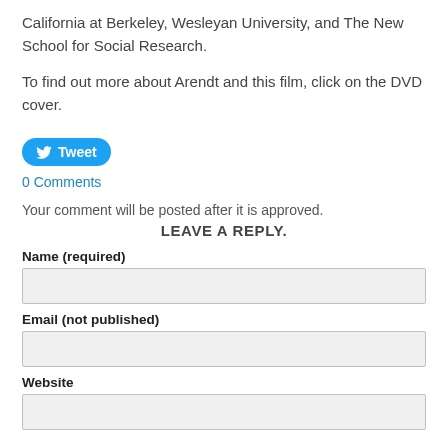California at Berkeley, Wesleyan University, and The New School for Social Research.
To find out more about Arendt and this film, click on the DVD cover.
[Figure (other): Tweet button with Twitter bird icon]
0 Comments
Your comment will be posted after it is approved.
LEAVE A REPLY.
Name (required)
Email (not published)
Website